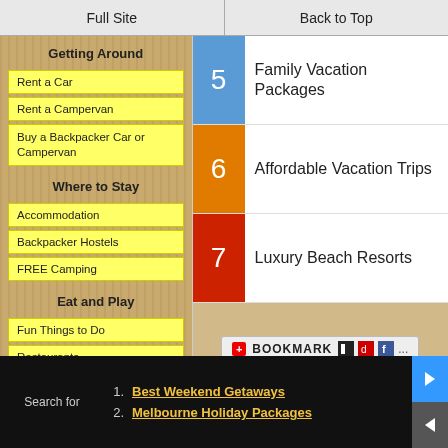Full Site | Back to Top
Getting Around
Rent a Car
Rent a Campervan
Buy a Backpacker Car or Campervan
Where to Stay
Accommodation
Backpacker Hostels
FREE Camping
Eat and Play
Fun Things to Do
Restaurants
5 Family Vacation Packages
6 Affordable Vacation Trips
7 Luxury Beach Resorts
[Figure (screenshot): Bookmark button with social sharing icons]
Search for
1. Best Weekend Getaways
2. Melbourne Holiday Packages